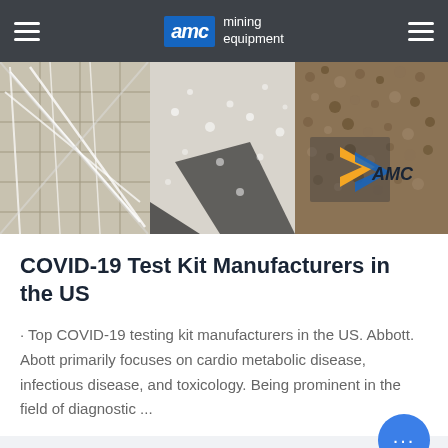AMC mining equipment
[Figure (photo): Hero image showing three panels: left panel with a white metal grid/frame structure, center panel with water droplets on a surface, right panel with gravel/aggregate material and an AMC logo visible]
COVID-19 Test Kit Manufacturers in the US
· Top COVID-19 testing kit manufacturers in the US. Abbott. Abott primarily focuses on cardio metabolic disease, infectious disease, and toxicology. Being prominent in the field of diagnostic ...